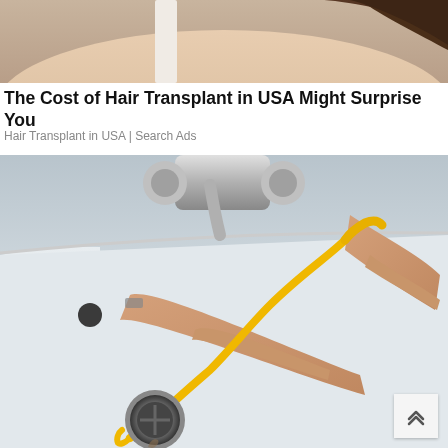[Figure (photo): Top portion of a woman's bare shoulder and dark hair against a light background - advertisement image for hair transplant]
The Cost of Hair Transplant in USA Might Surprise You
Hair Transplant in USA | Search Ads
[Figure (photo): Hands using a yellow flexible drain snake/auger tool in a bathroom sink, with a chrome faucet visible in the background and a sink drain in the foreground]